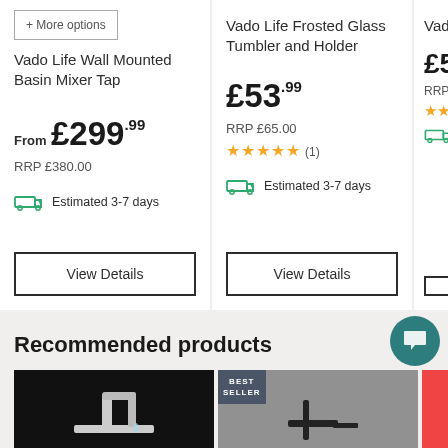+ More options
Vado Life Wall Mounted Basin Mixer Tap
From £299.99
RRP £380.00
Estimated 3-7 days
View Details
Vado Life Frosted Glass Tumbler and Holder
£53.99
RRP £65.00
★★★★★ (1)
Estimated 3-7 days
View Details
Vado Soap
£5...
Recommended products
[Figure (photo): Chrome wall-mounted waterfall basin tap on dark background]
[Figure (photo): Black modern tap on grey stone background with BEST SELLER badge]